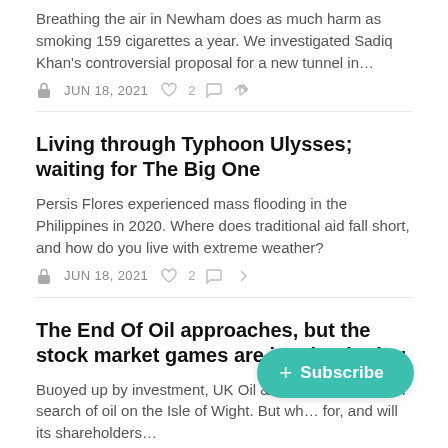Breathing the air in Newham does as much harm as smoking 159 cigarettes a year. We investigated Sadiq Khan's controversial proposal for a new tunnel in…
JUN 18, 2021  ♡ 2
Living through Typhoon Ulysses; waiting for The Big One
Persis Flores experienced mass flooding in the Philippines in 2020. Where does traditional aid fall short, and how do you live with extreme weather?
JUN 18, 2021  ♡ 2
The End Of Oil approaches, but the stock market games are just beginning
Buoyed up by investment, UK Oil & Gas wants to drill in search of oil on the Isle of Wight. But wh… for, and will its shareholders…
FLORENCE WILDBLOOD  JUN 17, 2021  ♡ 2